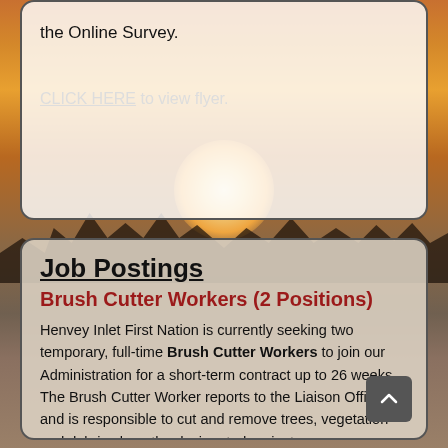the Online Survey.
CLICK HERE to view flyer.
Job Postings
Brush Cutter Workers (2 Positions)
Henvey Inlet First Nation is currently seeking two temporary, full-time Brush Cutter Workers to join our Administration for a short-term contract up to 26 weeks. The Brush Cutter Worker reports to the Liaison Officer and is responsible to cut and remove trees, vegetation and debris along the designated project areas as assigned. This position requires a high degree of self-motivation and a strong work ethic.
Read more ...